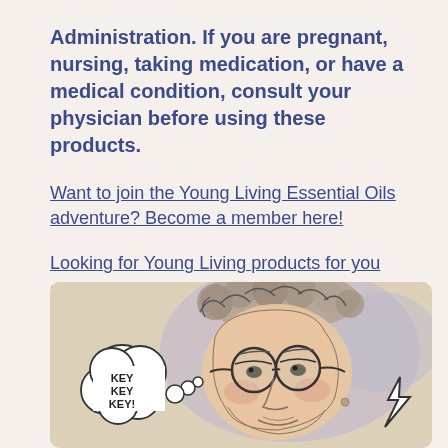Administration. If you are pregnant, nursing, taking medication, or have a medical condition, consult your physician before using these products.
Want to join the Young Living Essential Oils adventure? Become a member here!
Looking for Young Living products for you and your home? Shop here!
[Figure (illustration): A hand-drawn pencil sketch caricature of a person with curly hair and round glasses, with a thought bubble on the left saying 'KEY KEY KEY!' and a lightning bolt on the lower right.]